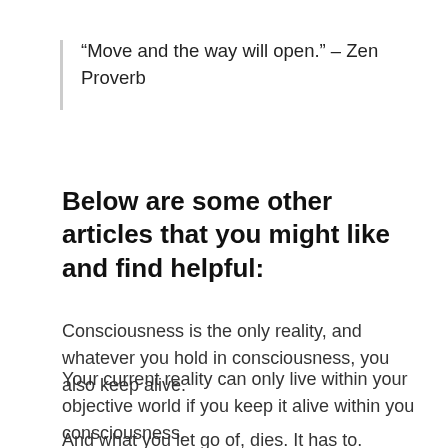“Move and the way will open.” – Zen Proverb
Below are some other articles that you might like and find helpful:
Consciousness is the only reality, and whatever you hold in consciousness, you also keep alive.
Your current reality can only live within your objective world if you keep it alive within you consciousness.
And what you let go of, dies. It has to.